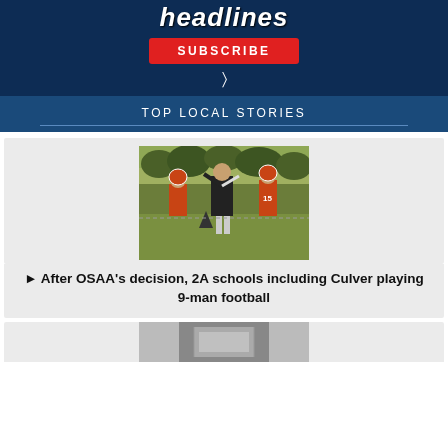[Figure (screenshot): Dark blue subscribe banner with 'headlines' text in white italic, a red SUBSCRIBE button, and a cursor icon below]
TOP LOCAL STORIES
[Figure (photo): Football players in orange uniforms practicing on a field, with a coach in the center]
► After OSAA's decision, 2A schools including Culver playing 9-man football
[Figure (photo): Partial photo visible at bottom of page, appears to show metallic equipment or structure]